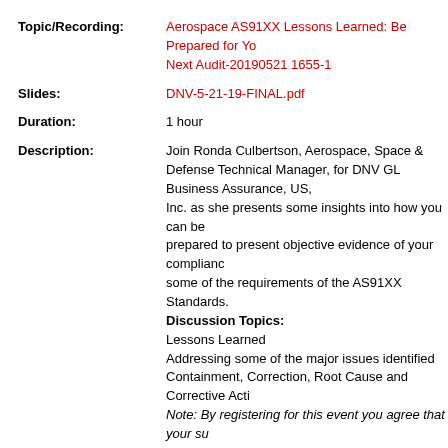Topic/Recording: Aerospace AS91XX Lessons Learned: Be Prepared for Your Next Audit-20190521 1655-1
Slides: DNV-5-21-19-FINAL.pdf
Duration: 1 hour
Description: Join Ronda Culbertson, Aerospace, Space & Defense Technical Manager, for DNV GL Business Assurance, US, Inc. as she presents some insights into how you can be prepared to present objective evidence of your compliance some of the requirements of the AS91XX Standards. Discussion Topics: Lessons Learned Addressing some of the major issues identified Containment, Correction, Root Cause and Corrective Action Note: By registering for this event you agree that your supplied contact information can be shared with the event presenter that they can contact you regarding the event and the information/products discussed within. The event host, Quality Digest, may also contact you regarding future events.
Date: May 21, 2019
Topic/Recording: Control Charts & Capability Analysis 101-20190507 1655-
Slides: PQ-5-7-19-Control_Charts_Capability_Analysis.pdf